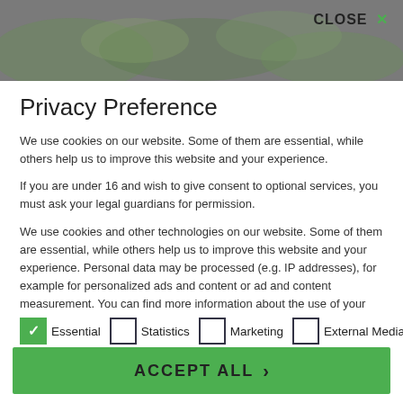[Figure (screenshot): Dark grey header bar with blurred nature background image and CLOSE X button in top right]
Privacy Preference
We use cookies on our website. Some of them are essential, while others help us to improve this website and your experience.
If you are under 16 and wish to give consent to optional services, you must ask your legal guardians for permission.
We use cookies and other technologies on our website. Some of them are essential, while others help us to improve this website and your experience. Personal data may be processed (e.g. IP addresses), for example for personalized ads and content or ad and content measurement. You can find more information about the use of your data in our privacy policy. You can revoke or adjust your selection at any time under Settings.
Essential (checked)
Statistics (unchecked)
Marketing (unchecked)
External Media (unchecked)
ACCEPT ALL >